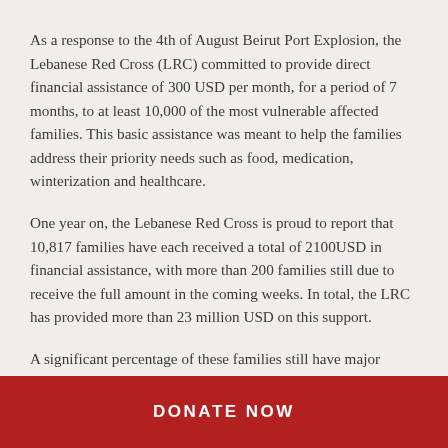As a response to the 4th of August Beirut Port Explosion, the Lebanese Red Cross (LRC) committed to provide direct financial assistance of 300 USD per month, for a period of 7 months, to at least 10,000 of the most vulnerable affected families. This basic assistance was meant to help the families address their priority needs such as food, medication, winterization and healthcare.
One year on, the Lebanese Red Cross is proud to report that 10,817 families have each received a total of 2100USD in financial assistance, with more than 200 families still due to receive the full amount in the coming weeks. In total, the LRC has provided more than 23 million USD on this support.
A significant percentage of these families still have major
DONATE NOW